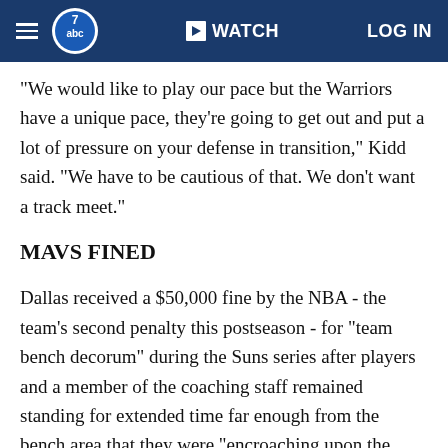abc7 WATCH LOG IN
"We would like to play our pace but the Warriors have a unique pace, they're going to get out and put a lot of pressure on your defense in transition," Kidd said. "We have to be cautious of that. We don't want a track meet."
MAVS FINED
Dallas received a $50,000 fine by the NBA - the team's second penalty this postseason - for "team bench decorum" during the Suns series after players and a member of the coaching staff remained standing for extended time far enough from the bench area that they were "encroaching upon the playing court during game action" during Game 7 against the Suns.